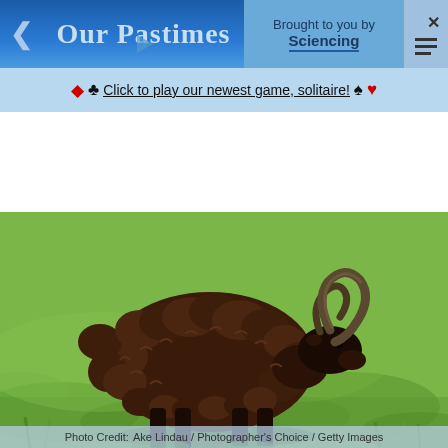Our Pastimes | Brought to you by Sciencing
♦ ♣ Click to play our newest game, solitaire! ♠ ♥
[Figure (photo): A dark brown/black horned sheep (ram) with thick curly wool standing on green grass, viewed from the side. The animal has curved horns and appears to be a Soay or similar rare breed sheep.]
Photo Caption: A dark sheep standing in a field